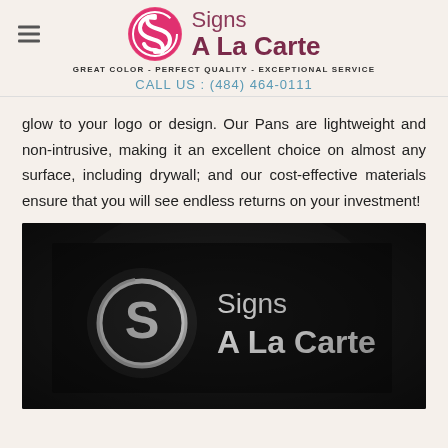Signs A La Carte — GREAT COLOR - PERFECT QUALITY - EXCEPTIONAL SERVICE — CALL US : (484) 464-0111
glow to your logo or design. Our Pans are lightweight and non-intrusive, making it an excellent choice on almost any surface, including drywall; and our cost-effective materials ensure that you will see endless returns on your investment!
[Figure (photo): Illuminated Signs A La Carte logo sign on dark background, showing the S logo circle and company name lit up in white light]